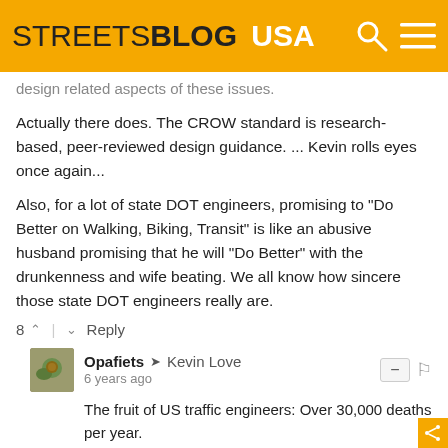STREETSBLOG USA
design related aspects of these issues.
Actually there does. The CROW standard is research-based, peer-reviewed design guidance. ... Kevin rolls eyes once again...
Also, for a lot of state DOT engineers, promising to "Do Better on Walking, Biking, Transit" is like an abusive husband promising that he will "Do Better" with the drunkenness and wife beating. We all know how sincere those state DOT engineers really are.
8  |  Reply
Opafiets → Kevin Love
6 years ago
The fruit of US traffic engineers: Over 30,000 deaths per year.
If engineers in The Netherlands, Denmark, Germany, and so many other countries can produce such safer streets,